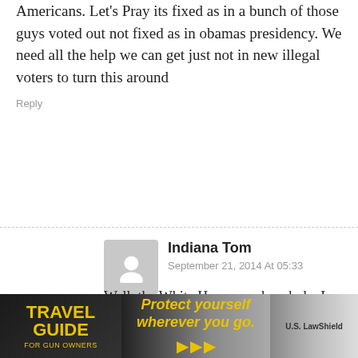Americans. Let's Pray its fixed as in a bunch of those guys voted out not fixed as in obamas presidency. We need all the help we can get just not in new illegal voters to turn this around
Reply
Indiana Tom
September 21, 2014 At 05:33
Well, the White House can be a hole, I suppose.
Reply
percynjpn
September 20, 2014 At 21:48
Well, if they don't shoot unarmed people, they can't be real cops. I wonder how they feel about house lawn.
[Figure (screenshot): Advertisement banner: Travel Guide For Gun Owners - Protect yourself wherever you go. US LawShield]